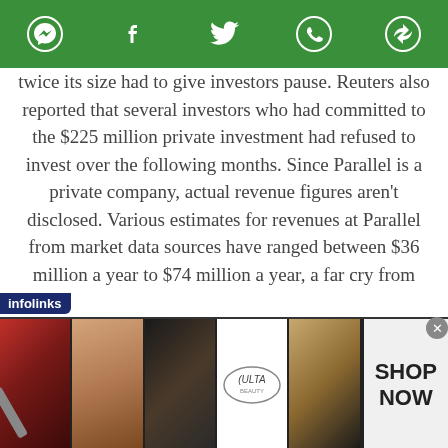Social media toolbar with messenger, facebook, twitter, whatsapp, and share icons
twice its size had to give investors pause. Reuters also reported that several investors who had committed to the $225 million private investment had refused to invest over the following months. Since Parallel is a private company, actual revenue figures aren't disclosed. Various estimates for revenues at Parallel from market data sources have ranged between $36 million a year to $74 million a year, a far cry from $447 million a year.
[Figure (advertisement): Infolinks advertisement banner featuring beauty/makeup images including lipstick, makeup brush, eye makeup, Ulta Beauty logo, and eye closeup photos with SHOP NOW call to action button]